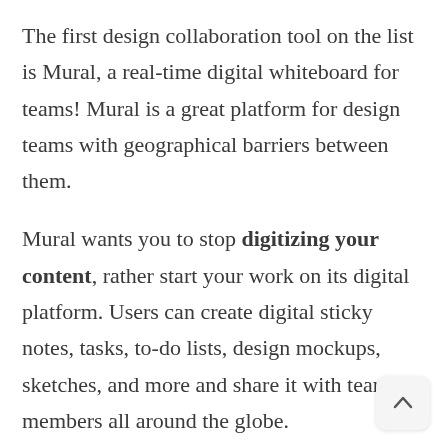The first design collaboration tool on the list is Mural, a real-time digital whiteboard for teams! Mural is a great platform for design teams with geographical barriers between them.
Mural wants you to stop digitizing your content, rather start your work on its digital platform. Users can create digital sticky notes, tasks, to-do lists, design mockups, sketches, and more and share it with team members all around the globe.
Apart from its awesome collaborative features, Mural provides anonymous voting sessions so people can voice their